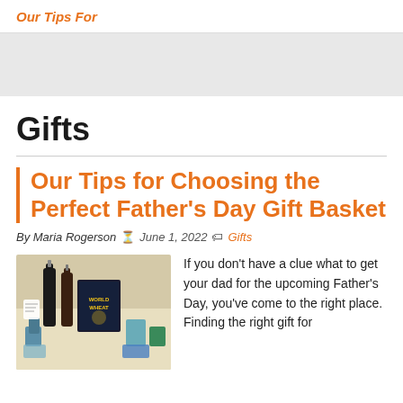Our Tips For
Gifts
Our Tips for Choosing the Perfect Father's Day Gift Basket
By Maria Rogerson  ⏳ June 1, 2022  🏷 Gifts
[Figure (photo): Photo of a Father's Day gift basket arrangement with wine bottles, a World Wheat book/box, and various small items on a light background]
If you don't have a clue what to get your dad for the upcoming Father's Day, you've come to the right place. Finding the right gift for